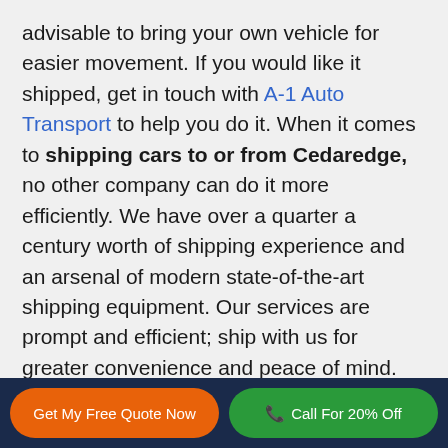advisable to bring your own vehicle for easier movement. If you would like it shipped, get in touch with A-1 Auto Transport to help you do it. When it comes to shipping cars to or from Cedaredge, no other company can do it more efficiently. We have over a quarter a century worth of shipping experience and an arsenal of modern state-of-the-art shipping equipment. Our services are prompt and efficient; ship with us for greater convenience and peace of mind.
Cedaredge Auto
Get My Free Quote Now | Call For 20% Off